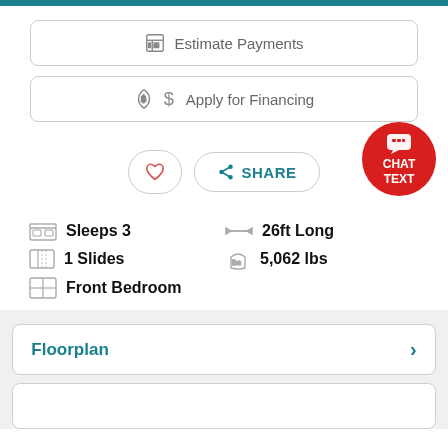[Figure (screenshot): Top teal navigation bar]
Estimate Payments
Apply for Financing
[Figure (infographic): Heart/favorite button and SHARE button with CHAT TEXT circle badge]
Sleeps 3
1 Slides
Front Bedroom
26ft Long
5,062 lbs
Floorplan